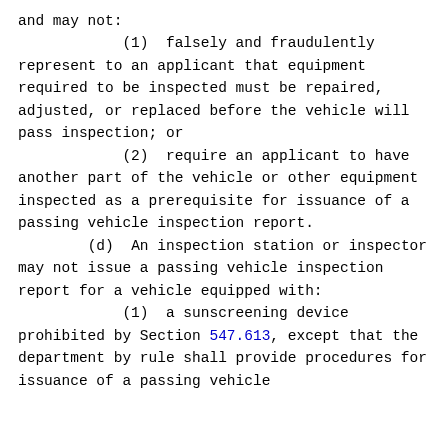and may not:
            (1)  falsely and fraudulently represent to an applicant that equipment required to be inspected must be repaired, adjusted, or replaced before the vehicle will pass inspection; or
            (2)  require an applicant to have another part of the vehicle or other equipment inspected as a prerequisite for issuance of a passing vehicle inspection report.
        (d)  An inspection station or inspector may not issue a passing vehicle inspection report for a vehicle equipped with:
            (1)  a sunscreening device prohibited by Section 547.613, except that the department by rule shall provide procedures for issuance of a passing vehicle